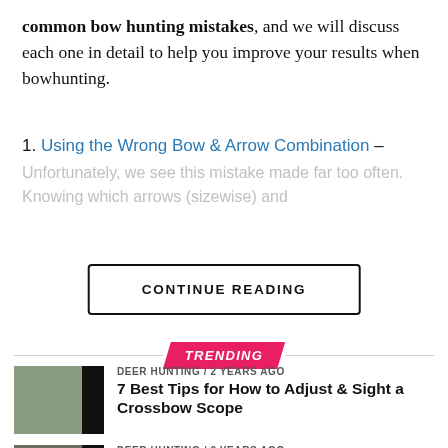common bow hunting mistakes, and we will discuss each one in detail to help you improve your results when bowhunting.
1. Using the Wrong Bow & Arrow Combination – Unfortunately, we see this mistake made far too often. Knowing which arrows (sizewise) and
CONTINUE READING
TRENDING
DEER HUNTING / 2 years ago
7 Best Tips for How to Adjust & Sight a Crossbow Scope
DEER HUNTING / 2 years ago
Crossbow Deer Hunting – The 8 Best Tips & Tactics for Success
BOWHUNTING NEWS / ...